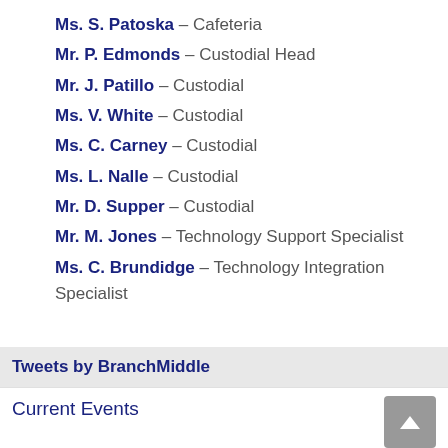Ms. S. Patoska – Cafeteria
Mr. P. Edmonds – Custodial Head
Mr. J. Patillo – Custodial
Ms. V. White – Custodial
Ms. C. Carney – Custodial
Ms. L. Nalle – Custodial
Mr. D. Supper – Custodial
Mr. M. Jones – Technology Support Specialist
Ms. C. Brundidge – Technology Integration Specialist
Tweets by BranchMiddle
Current Events